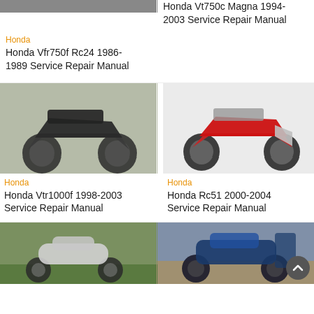[Figure (photo): Partial motorcycle photo cropped at top of page, left column]
Honda Vt750c Magna 1994-2003 Service Repair Manual
Honda
Honda Vfr750f Rc24 1986-1989 Service Repair Manual
[Figure (photo): Dark sport-touring motorcycle (Honda VTR1000F) parked outdoors]
Honda
Honda Vtr1000f 1998-2003 Service Repair Manual
[Figure (photo): Red and silver Honda RC51 sport motorcycle on white background]
Honda
Honda Rc51 2000-2004 Service Repair Manual
[Figure (photo): White Honda Super Cub style motorcycle parked on grass]
[Figure (photo): Blue Honda Gold Wing touring motorcycle]